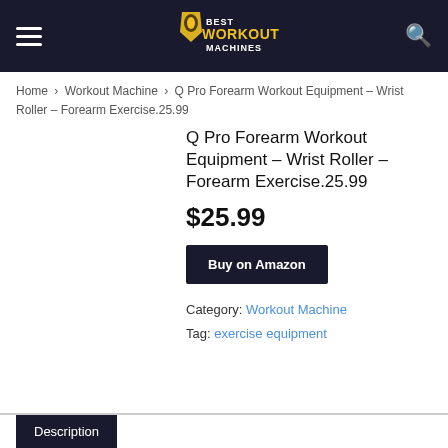Best Workout Machines
Home › Workout Machine › Q Pro Forearm Workout Equipment – Wrist Roller – Forearm Exercise.25.99
Q Pro Forearm Workout Equipment – Wrist Roller – Forearm Exercise.25.99
$25.99
Buy on Amazon
Category: Workout Machine
Tag: exercise equipment
Description